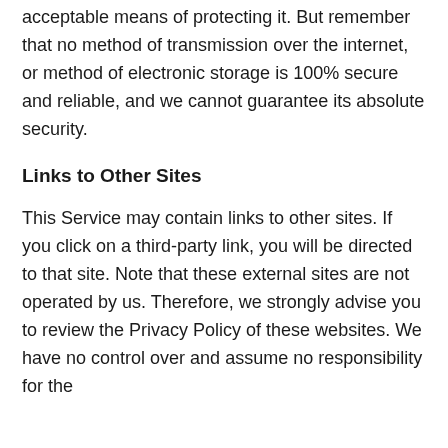acceptable means of protecting it. But remember that no method of transmission over the internet, or method of electronic storage is 100% secure and reliable, and we cannot guarantee its absolute security.
Links to Other Sites
This Service may contain links to other sites. If you click on a third-party link, you will be directed to that site. Note that these external sites are not operated by us. Therefore, we strongly advise you to review the Privacy Policy of these websites. We have no control over and assume no responsibility for the